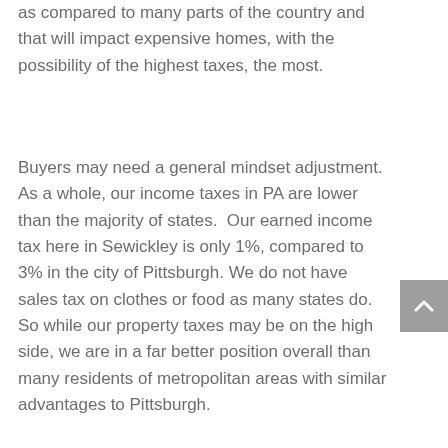as compared to many parts of the country and that will impact expensive homes, with the possibility of the highest taxes, the most.
Buyers may need a general mindset adjustment. As a whole, our income taxes in PA are lower than the majority of states. Our earned income tax here in Sewickley is only 1%, compared to 3% in the city of Pittsburgh. We do not have sales tax on clothes or food as many states do. So while our property taxes may be on the high side, we are in a far better position overall than many residents of metropolitan areas with similar advantages to Pittsburgh.